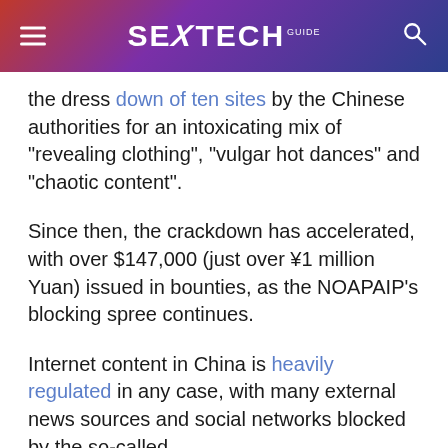SEXTECH GUIDE
the dress down of ten sites by the Chinese authorities for an intoxicating mix of “revealing clothing”, “vulgar hot dances” and “chaotic content”.
Since then, the crackdown has accelerated, with over $147,000 (just over ¥1 million Yuan) issued in bounties, as the NOAPAIP’s blocking spree continues.
Internet content in China is heavily regulated in any case, with many external news sources and social networks blocked by the so-called